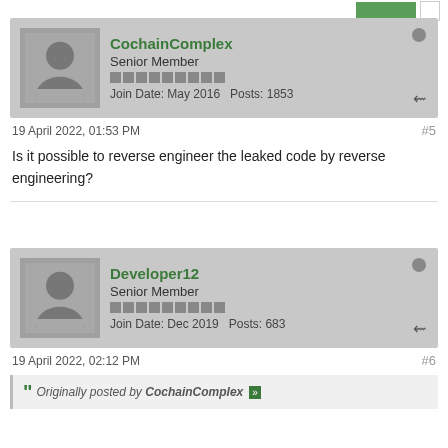[Figure (screenshot): Forum post by CochainComplex: username, Senior Member, join date May 2016, posts 1853]
19 April 2022, 01:53 PM
#5
Is it possible to reverse engineer the leaked code by reverse engineering?
[Figure (screenshot): Forum post by Developer12: username, Senior Member, join date Dec 2019, posts 683]
19 April 2022, 02:12 PM
#6
Originally posted by CochainComplex